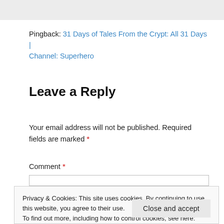Pingback: 31 Days of Tales From the Crypt: All 31 Days | Channel: Superhero
Leave a Reply
Your email address will not be published. Required fields are marked *
Comment *
Privacy & Cookies: This site uses cookies. By continuing to use this website, you agree to their use.
To find out more, including how to control cookies, see here: Cookie Policy
Close and accept